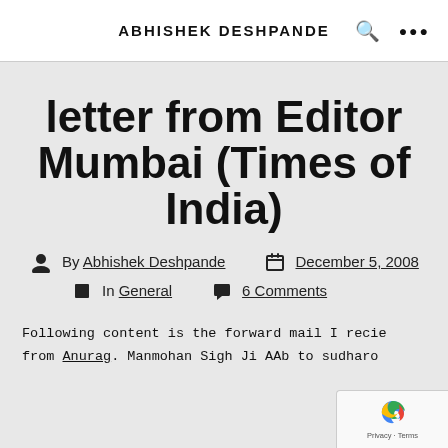ABHISHEK DESHPANDE
letter from Editor Mumbai (Times of India)
By Abhishek Deshpande   December 5, 2008
In General   6 Comments
Following content is the forward mail I recie from Anurag. Manmohan Sigh Ji AAb to sudharo